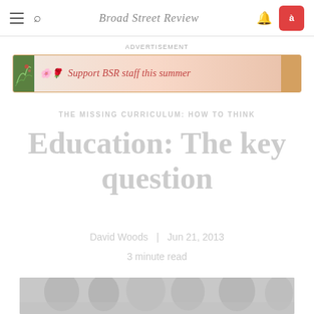Broad Street Review
ADVERTISEMENT
[Figure (illustration): Advertisement banner for Broad Street Review summer support campaign: decorative art with text 'Support BSR staff this summer']
THE MISSING CURRICULUM: HOW TO THINK
Education: The key question
David Woods  |  Jun 21, 2013
3 minute read
[Figure (photo): Black and white or greyscale photograph of people, partially visible at bottom of page]